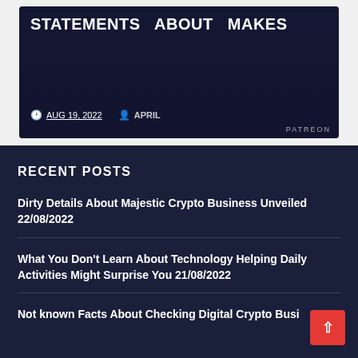[Figure (screenshot): Blog post card with dark gaming/crypto themed background. Title text reads partially visible at top. Date shown as AUG 19, 2022 and author APRIL.]
RECENT POSTS
Dirty Details About Majestic Crypto Business Unveiled 22/08/2022
What You Don't Learn About Technology Helping Daily Activities Might Surprise You 21/08/2022
Not known Facts About Checking Digital Crypto Busi... Uncovered By The Authorities 20/08/2022